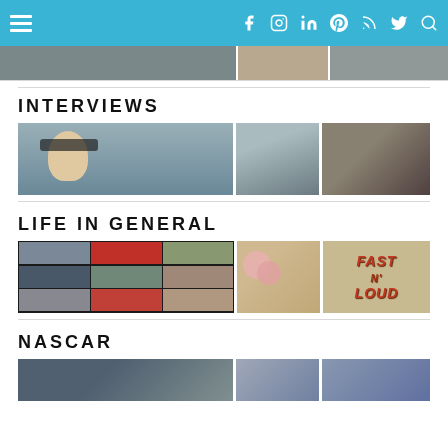Navigation bar with hamburger menu and social icons: Facebook, Instagram, LinkedIn, Pinterest, RSS, Twitter, Search
[Figure (photo): Strip of thumbnail photos at top of page]
INTERVIEWS
[Figure (photo): Three photos: NASCAR driver with sunglasses outdoors, person being interviewed outdoors, person inside a car]
LIFE IN GENERAL
[Figure (photo): Three images: collage of motorsport photos, pink roses close-up, Fast N Loud logo/title card]
NASCAR
[Figure (photo): Three NASCAR-related photos at bottom of page, partially visible]